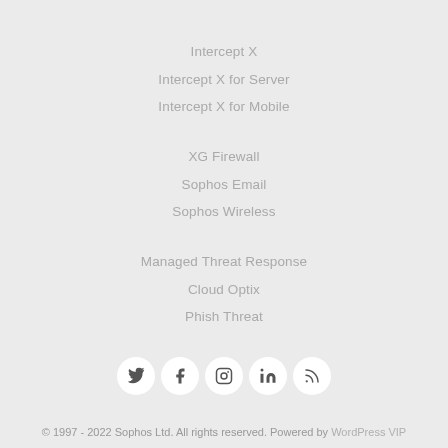Intercept X
Intercept X for Server
Intercept X for Mobile
XG Firewall
Sophos Email
Sophos Wireless
Managed Threat Response
Cloud Optix
Phish Threat
[Figure (other): Social media icons: Twitter, Facebook, Instagram, LinkedIn, RSS]
© 1997 - 2022 Sophos Ltd. All rights reserved. Powered by WordPress VIP